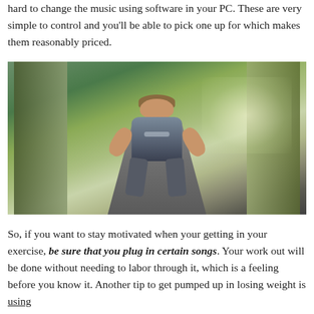hard to change the music using software in your PC. These are very simple to control and you'll be able to pick one up for which makes them reasonably priced.
[Figure (photo): A woman seen from behind, wearing a sports bra and leggings, sitting/stretching on a tree-lined road or path, with sunlight filtering through trees in the background.]
So, if you want to stay motivated when your getting in your exercise, be sure that you plug in certain songs. Your work out will be done without needing to labor through it, which is a feeling before you know it. Another tip to get pumped up in losing weight is using